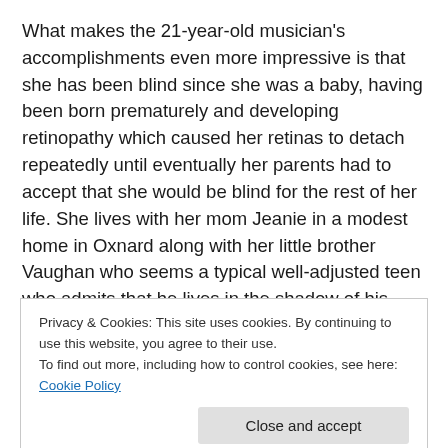What makes the 21-year-old musician's accomplishments even more impressive is that she has been blind since she was a baby, having been born prematurely and developing retinopathy which caused her retinas to detach repeatedly until eventually her parents had to accept that she would be blind for the rest of her life. She lives with her mom Jeanie in a modest home in Oxnard along with her little brother Vaughan who seems a typical well-adjusted teen who admits that he lives in the shadow of his sister and then the film proves it by going virtually the entire rest of
Privacy & Cookies: This site uses cookies. By continuing to use this website, you agree to their use.
To find out more, including how to control cookies, see here: Cookie Policy
The documentary follows Rachel essentially for two years